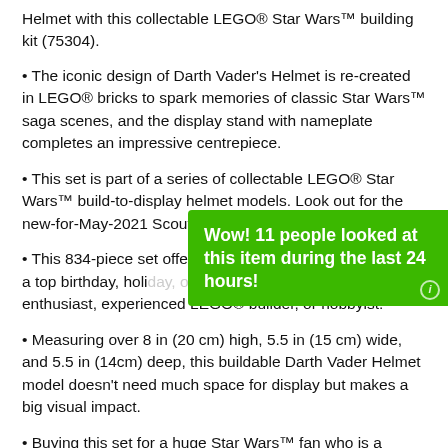Helmet with this collectable LEGO® Star Wars™ building kit (75304).
The iconic design of Darth Vader's Helmet is re-created in LEGO® bricks to spark memories of classic Star Wars™ saga scenes, and the display stand with nameplate completes an impressive centrepiece.
This set is part of a series of collectable LEGO® Star Wars™ build-to-display helmet models. Look out for the new-for-May-2021 Scout Trooper Helmet (75305)!
[Figure (infographic): Green toast notification overlay reading: Wow! 11 people looked at this item during the last 24 hours!]
This 834-piece set offers a challenging build and makes a top birthday, holiday, or surprise gift for any Star Wars enthusiast, experienced LEGO® builder, or hobbyist.
Measuring over 8 in (20 cm) high, 5.5 in (15 cm) wide, and 5.5 in (14cm) deep, this buildable Darth Vader Helmet model doesn't need much space for display but makes a big visual impact.
Buying this set for a huge Star Wars™ fan who is a LEGO® newcomer? No problem! It comes with easy-to-follow instructions so they can take on this complex build with the confidence of a Jedi Knight.